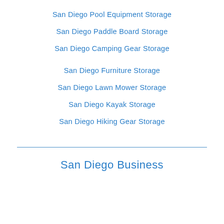San Diego Pool Equipment Storage
San Diego Paddle Board Storage
San Diego Camping Gear Storage
San Diego Furniture Storage
San Diego Lawn Mower Storage
San Diego Kayak Storage
San Diego Hiking Gear Storage
San Diego Business